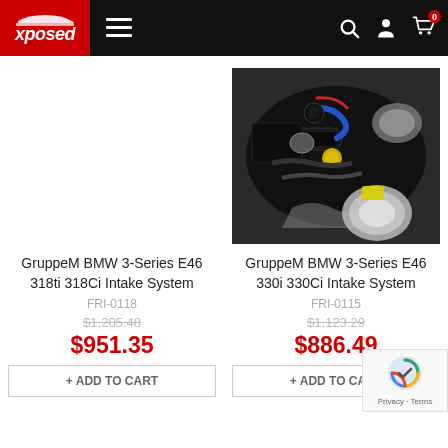[Figure (screenshot): Xposed website navigation header with logo, hamburger menu, search, account, and cart icons on dark background]
[Figure (photo): Engine bay photo showing a BMW 3-Series E46 intake system installation with black components and visible hoses]
GruppeM BMW 3-Series E46 318ti 318Ci Intake System
GruppeM BMW 3-Series E46 330i 330Ci Intake System
FRI-0118
FRI-0115
$1,205.48
$1,123.29
$951.35
$886.49
+ ADD TO CART
+ ADD TO CART